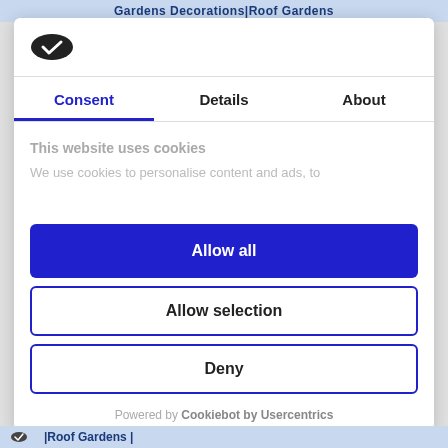Gardens Decorations|Roof Gardens
[Figure (logo): Cookiebot logo — dark oval shape with white checkmark]
Consent	Details	About
This website uses cookies
We use cookies to personalise content and ads, to
Allow all
Allow selection
Deny
Powered by Cookiebot by Usercentrics
|Roof Gardens |